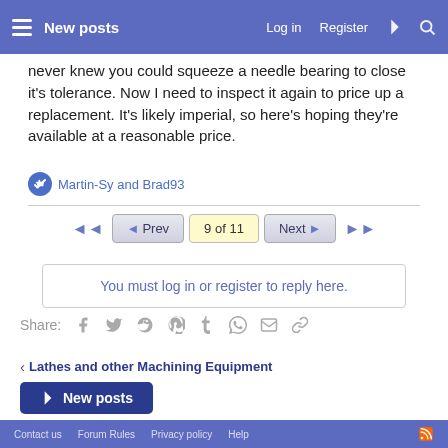New posts  Log in  Register
never knew you could squeeze a needle bearing to close it's tolerance. Now I need to inspect it again to price up a replacement. It's likely imperial, so here's hoping they're available at a reasonable price.
Martin-Sy and Brad93
◄◄  ◄ Prev  9 of 11  Next ►  ►►
You must log in or register to reply here.
Share:
Lathes and other Machining Equipment
New posts
Contact us  Forum Rules  Privacy policy  Help